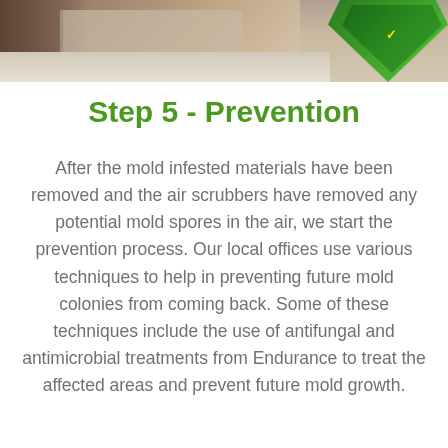[Figure (photo): Photo strip at top showing mold-damaged wall with exposed studs and tile floor, with a green shield logo/badge visible in the upper right corner]
Step 5 - Prevention
After the mold infested materials have been removed and the air scrubbers have removed any potential mold spores in the air, we start the prevention process. Our local offices use various techniques to help in preventing future mold colonies from coming back. Some of these techniques include the use of antifungal and antimicrobial treatments from Endurance to treat the affected areas and prevent future mold growth.